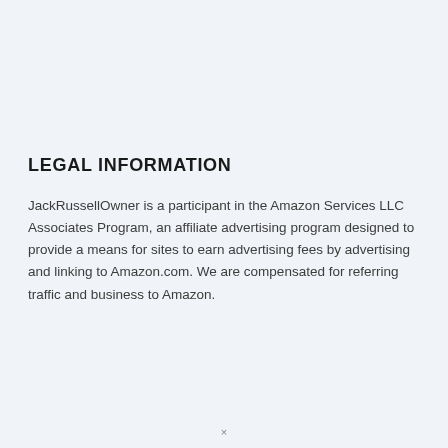LEGAL INFORMATION
JackRussellOwner is a participant in the Amazon Services LLC Associates Program, an affiliate advertising program designed to provide a means for sites to earn advertising fees by advertising and linking to Amazon.com. We are compensated for referring traffic and business to Amazon.